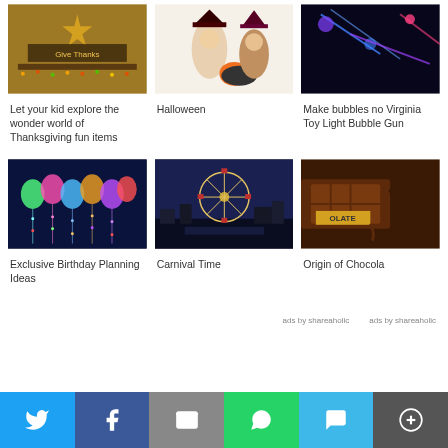[Figure (photo): Thanksgiving decoration with 'Give Thanks' sign, star, and lights on a shelf]
Let your kid explore the wonder world of Thanksgiving fun items
[Figure (photo): Two children dressed as witches for Halloween with pumpkin and cauldron]
Halloween
[Figure (photo): Blue glowing lights, partially cut off on right side]
Make bubbles no Virginia Toy Light Bubble Gun
[Figure (photo): Colorful LED light-up balloons with hanging lights on a dark blue curtain background]
Exclusive Birthday Planning Ideas
[Figure (photo): Illuminated Ferris wheel at a carnival at night with city lights]
Carnival Time
[Figure (photo): Chocolate pieces with a label reading 'OLATE', drizzling chocolate]
Origin of Chocola
ads by shareaholic
ads by shareaholic
[Figure (infographic): Social share bar with Twitter, Facebook, Email, WhatsApp, SMS, and More buttons]